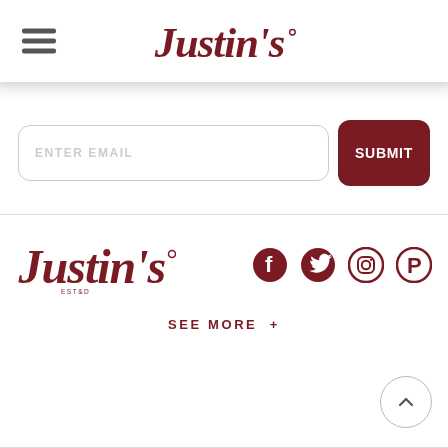Justin's
[Figure (screenshot): Email subscription input field with placeholder text ENTER EMAIL and a dark red SUBMIT button]
[Figure (logo): Justin's logo in dark red script, and four social media icons: Facebook, Twitter, Instagram, Pinterest]
SEE MORE +
[Figure (other): Back to top arrow button]